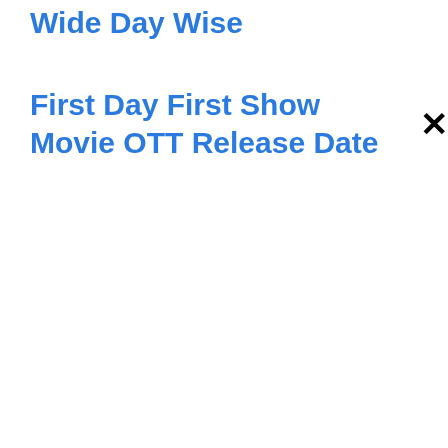Wide Day Wise
First Day First Show Movie OTT Release Date ×